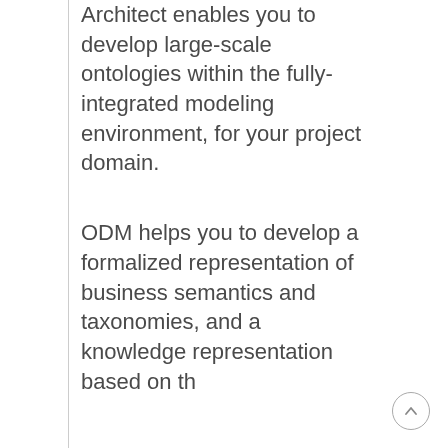Architect enables you to develop large-scale ontologies within the fully-integrated modeling environment, for your project domain.
ODM helps you to develop a formalized representation of business semantics and taxonomies, and a knowledge representation based on th...